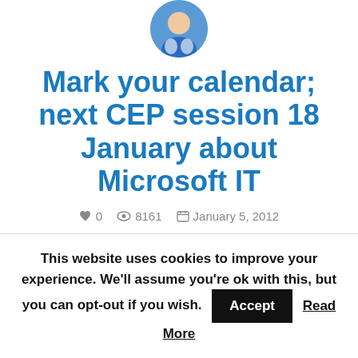[Figure (photo): Circular avatar photo of a person wearing a blue jacket, cropped at the top]
Mark your calendar; next CEP session 18 January about Microsoft IT
♥ 0   👁 8161   📅 January 5, 2012   👤 Peter Daalmans   ✏️ ConfigMgr
The first Community Evaluation Program
This website uses cookies to improve your experience. We'll assume you're ok with this, but you can opt-out if you wish.  Accept  Read More